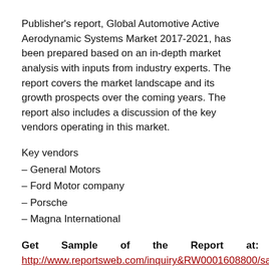Publisher's report, Global Automotive Active Aerodynamic Systems Market 2017-2021, has been prepared based on an in-depth market analysis with inputs from industry experts. The report covers the market landscape and its growth prospects over the coming years. The report also includes a discussion of the key vendors operating in this market.
Key vendors
– General Motors
– Ford Motor company
– Porsche
– Magna International
Get Sample of the Report at: http://www.reportsweb.com/inquiry&RW0001608800/sample ,
Other prominent vendors